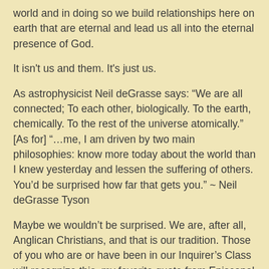world and in doing so we build relationships here on earth that are eternal and lead us all into the eternal presence of God.
It isn't us and them. It's just us.
As astrophysicist Neil deGrasse says: “We are all connected; To each other, biologically. To the earth, chemically. To the rest of the universe atomically.” [As for] “…me, I am driven by two main philosophies: know more today about the world than I knew yesterday and lessen the suffering of others. You’d be surprised how far that gets you.” ~ Neil deGrasse Tyson
Maybe we wouldn’t be surprised. We are, after all, Anglican Christians, and that is our tradition. Those of you who are or have been in our Inquirer’s Class will recognize this, my favorite quote from Episcopal theologian Terry Holmes:
“We see ourselves as interconnected… this is fundamentally Anglican. …To love God is to relieve the burden of all who suffer. The rest is a question of tactics.” (Holmes, What is